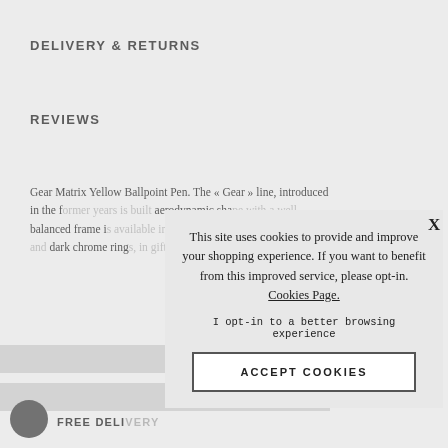DELIVERY & RETURNS
REVIEWS
Gear Matrix Yellow Ballpoint Pen. The « Gear » line, introduced in the f... aerodynamic sha... balanced frame is... version with an a... dark chrome ring... packaging.
[Figure (other): Cookie consent popup overlay with message: 'This site uses cookies to provide and improve your shopping experience. If you want to benefit from this improved service, please opt-in. Cookies Page.' with opt-in text and ACCEPT COOKIES button]
FREE DELIVERY